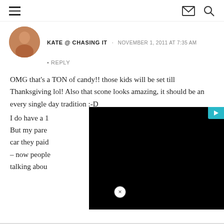Navigation header with hamburger menu, email icon, and search icon
KATE @ CHASING IT · NOVEMBER 1, 2011 AT 7:35 AM
• REPLY
OMG that's a TON of candy!! those kids will be set till Thanksgiving lol! Also that scone looks amazing, it should be an every single day tradition :-D
I do have a 1 [obscured by ad overlay] But my pare [obscured] car they paid [obscured] – now people [obscured] talking abou [obscured]
[Figure (other): Black advertisement overlay video covering the right portion of the comment text]